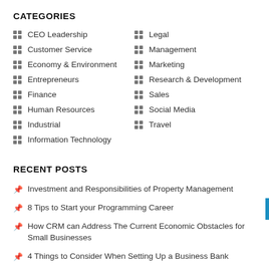CATEGORIES
CEO Leadership
Legal
Customer Service
Management
Economy & Environment
Marketing
Entrepreneurs
Research & Development
Finance
Sales
Human Resources
Social Media
Industrial
Travel
Information Technology
RECENT POSTS
Investment and Responsibilities of Property Management
8 Tips to Start your Programming Career
How CRM can Address The Current Economic Obstacles for Small Businesses
4 Things to Consider When Setting Up a Business Bank